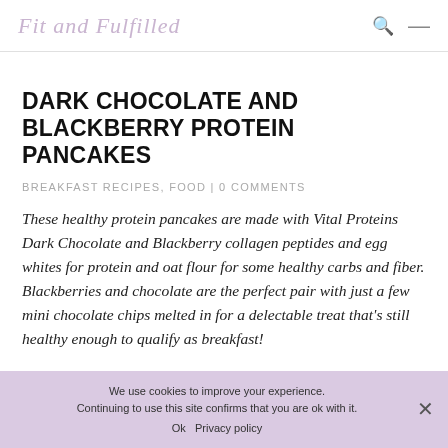Fit and Fulfilled
DARK CHOCOLATE AND BLACKBERRY PROTEIN PANCAKES
BREAKFAST RECIPES, FOOD | 0 COMMENTS
These healthy protein pancakes are made with Vital Proteins Dark Chocolate and Blackberry collagen peptides and egg whites for protein and oat flour for some healthy carbs and fiber. Blackberries and chocolate are the perfect pair with just a few mini chocolate chips melted in for a delectable treat that's still healthy enough to qualify as breakfast!